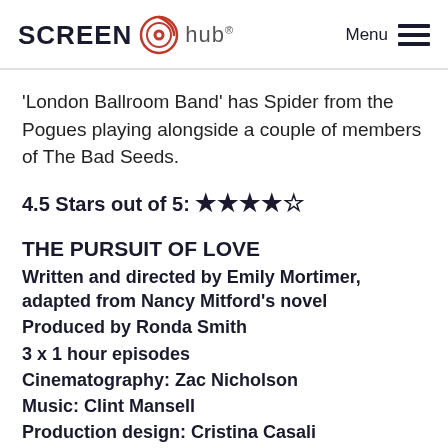SCREEN hub  Menu
'London Ballroom Band' has Spider from the Pogues playing alongside a couple of members of The Bad Seeds.
4.5 Stars out of 5: ★★★★☆
THE PURSUIT OF LOVE
Written and directed by Emily Mortimer, adapted from Nancy Mitford's novel
Produced by Ronda Smith
3 x 1 hour episodes
Cinematography: Zac Nicholson
Music: Clint Mansell
Production design: Cristina Casali